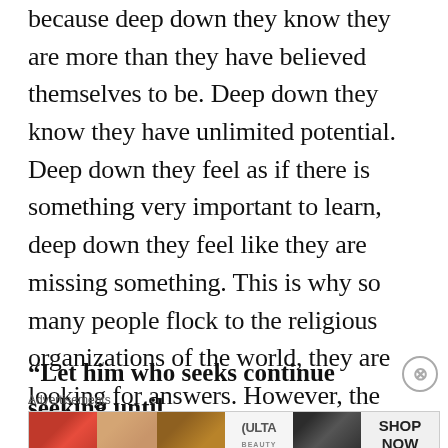because deep down they know they are more than they have believed themselves to be. Deep down they know they have unlimited potential. Deep down they feel as if there is something very important to learn, deep down they feel like they are missing something. This is why so many people flock to the religious organizations of the world, they are looking for answers. However, the problem is, the answers are only found within.
“Let him who seeks continue seeking until
[Figure (other): Ulta Beauty advertisement banner with cosmetic imagery including lipstick, makeup brush, eye closeups, ULTA logo, and SHOP NOW call to action]